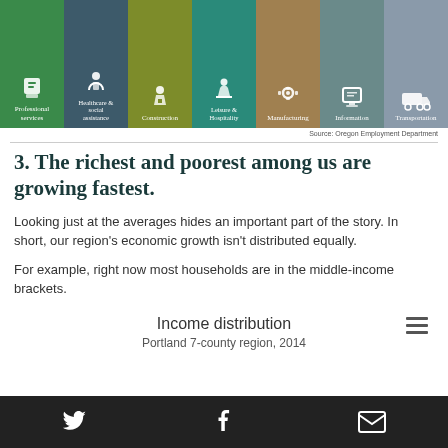[Figure (infographic): Row of colored icon boxes for industry sectors: Professional services (green), Healthcare & social assistance (dark blue-gray), Construction (olive/yellow-green), Leisure & Hospitality (teal), Manufacturing (tan/brown), Information (slate), Transportation (gray). Each box has a white icon above the label text.]
Source: Oregon Employment Department
3. The richest and poorest among us are growing fastest.
Looking just at the averages hides an important part of the story. In short, our region's economic growth isn't distributed equally.
For example, right now most households are in the middle-income brackets.
Income distribution
Portland 7-county region, 2014
Social share icons: Twitter, Facebook, Email